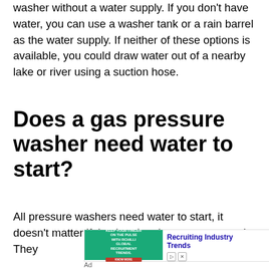washer without a water supply. If you don't have water, you can use a washer tank or a rain barrel as the water supply. If neither of these options is available, you could draw water out of a nearby lake or river using a suction hose.
Does a gas pressure washer need water to start?
All pressure washers need water to start, it doesn't matter if they're electric or gas powered. They
[Figure (other): Advertisement banner for RChilli Global Recruitment Trends with text 'Keep your finger on the pulse with RChilli Global Recruitment Trends' and title 'Recruiting Industry Trends']
Ad